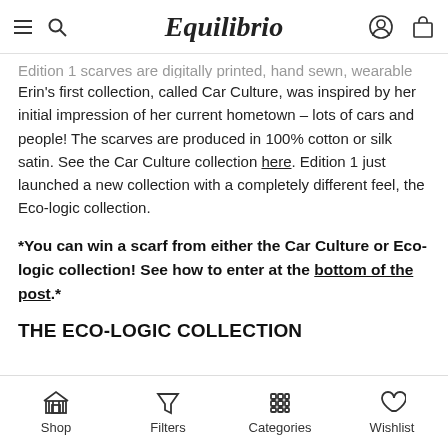Equilibrio
Edition 1 scarves are digitally printed, hand sewn, wearable art. Erin's first collection, called Car Culture, was inspired by her initial impression of her current hometown – lots of cars and people! The scarves are produced in 100% cotton or silk satin. See the Car Culture collection here. Edition 1 just launched a new collection with a completely different feel, the Eco-logic collection.
*You can win a scarf from either the Car Culture or Eco-logic collection! See how to enter at the bottom of the post.*
THE ECO-LOGIC COLLECTION
Shop  Filters  Categories  Wishlist